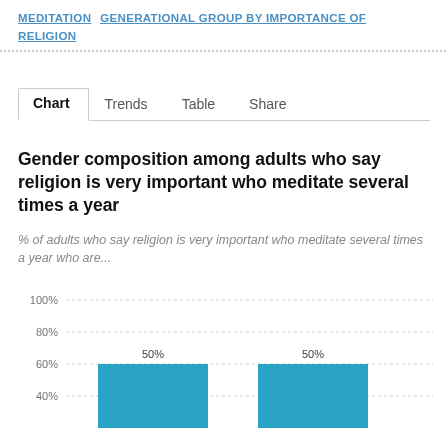MEDITATION GENERATIONAL GROUP BY IMPORTANCE OF RELIGION
Chart | Trends | Table | Share
Gender composition among adults who say religion is very important who meditate several times a year
% of adults who say religion is very important who meditate several times a year who are...
[Figure (bar-chart): Gender composition among adults who say religion is very important who meditate several times a year]